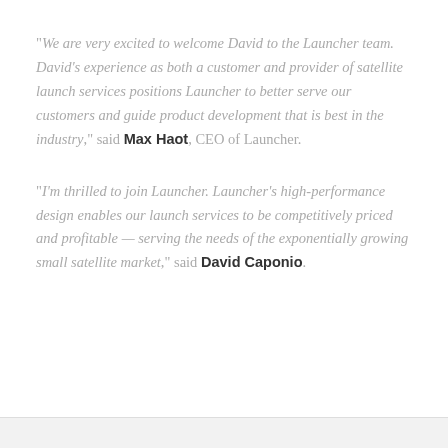"We are very excited to welcome David to the Launcher team. David's experience as both a customer and provider of satellite launch services positions Launcher to better serve our customers and guide product development that is best in the industry," said Max Haot, CEO of Launcher.
"I'm thrilled to join Launcher. Launcher's high-performance design enables our launch services to be competitively priced and profitable — serving the needs of the exponentially growing small satellite market," said David Caponio.